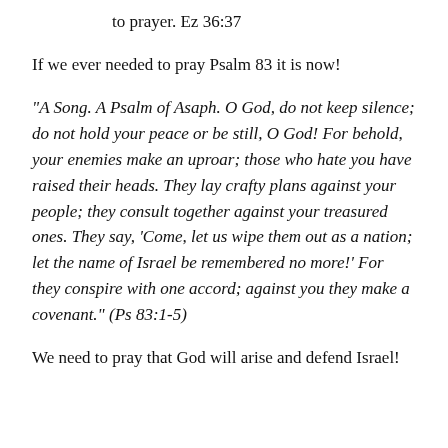to prayer. Ez 36:37
If we ever needed to pray Psalm 83 it is now!
"A Song. A Psalm of Asaph. O God, do not keep silence; do not hold your peace or be still, O God! For behold, your enemies make an uproar; those who hate you have raised their heads. They lay crafty plans against your people; they consult together against your treasured ones. They say, ‘Come, let us wipe them out as a nation; let the name of Israel be remembered no more!’ For they conspire with one accord; against you they make a covenant.” (Ps 83:1-5)
We need to pray that God will arise and defend Israel!